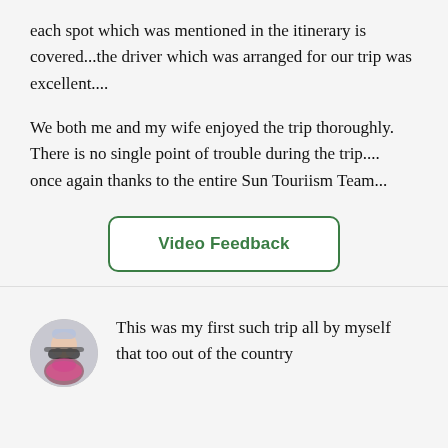each spot which was mentioned in the itinerary is covered...the driver which was arranged for our trip was excellent....
We both me and my wife enjoyed the trip thoroughly. There is no single point of trouble during the trip.... once again thanks to the entire Sun Touriism Team...
[Figure (other): Green rounded rectangle button with text 'Video Feedback']
[Figure (photo): Circular avatar photo of a person in winter clothing with sunglasses]
This was my first such trip all by myself that too out of the country